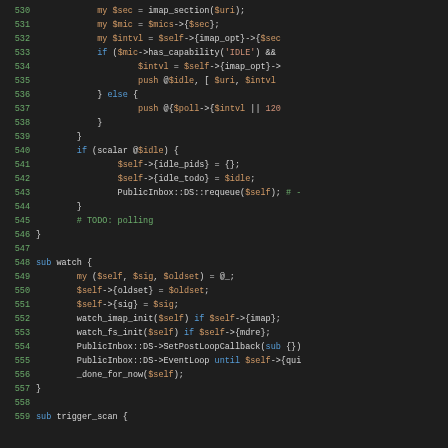[Figure (screenshot): Source code listing in a dark-theme code editor showing Perl code lines 530-559, with syntax highlighting: green line numbers, orange variables, blue keywords, green comments, red string literals.]